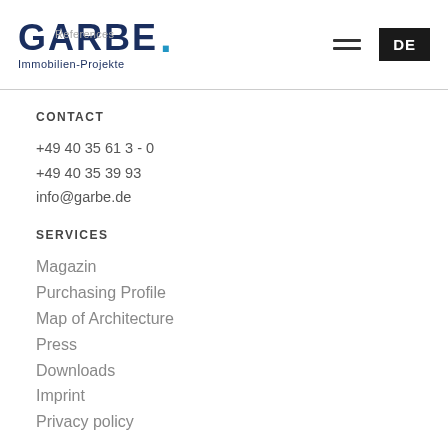GARBE. Immobilien-Projekte | References | DE
CONTACT
+49 40 35 61 3 - 0
+49 40 35 39 93
info@garbe.de
SERVICES
Magazin
Purchasing Profile
Map of Architecture
Press
Downloads
Imprint
Privacy policy
FOLLOW US